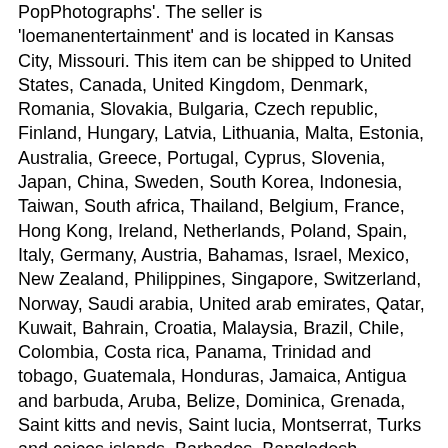PopPhotographs'. The seller is 'loemanentertainment' and is located in Kansas City, Missouri. This item can be shipped to United States, Canada, United Kingdom, Denmark, Romania, Slovakia, Bulgaria, Czech republic, Finland, Hungary, Latvia, Lithuania, Malta, Estonia, Australia, Greece, Portugal, Cyprus, Slovenia, Japan, China, Sweden, South Korea, Indonesia, Taiwan, South africa, Thailand, Belgium, France, Hong Kong, Ireland, Netherlands, Poland, Spain, Italy, Germany, Austria, Bahamas, Israel, Mexico, New Zealand, Philippines, Singapore, Switzerland, Norway, Saudi arabia, United arab emirates, Qatar, Kuwait, Bahrain, Croatia, Malaysia, Brazil, Chile, Colombia, Costa rica, Panama, Trinidad and tobago, Guatemala, Honduras, Jamaica, Antigua and barbuda, Aruba, Belize, Dominica, Grenada, Saint kitts and nevis, Saint lucia, Montserrat, Turks and caicos islands, Barbados, Bangladesh, Bermuda, Brunei darussalam, Bolivia, Ecuador, Egypt, French guiana, Guernsey, Gibraltar, Guadeloupe, Iceland, Jersey, Jordan, Cambodia, Cayman islands, Liechtenstein, Sri lanka, Luxembourg, Monaco, Macao, Martinique, Maldives, Nicaragua, Oman, Peru, Pakistan, Paraguay, Reunion, Viet nam, Uruguay.
Industry: Music
Object Type: Photograph
Original/Reproduction: Original